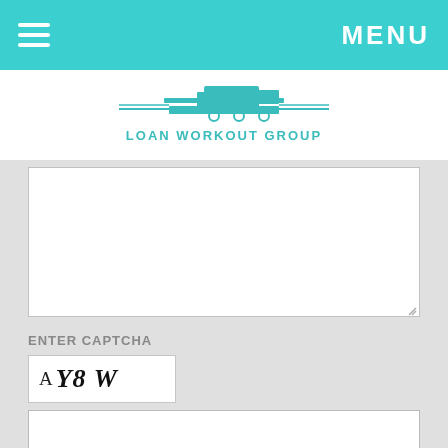MENU
[Figure (logo): Loan Workout Group logo with train/track graphic and teal text]
ENTER CAPTCHA
[Figure (other): CAPTCHA image showing characters: A Y8 W]
SEND NOW